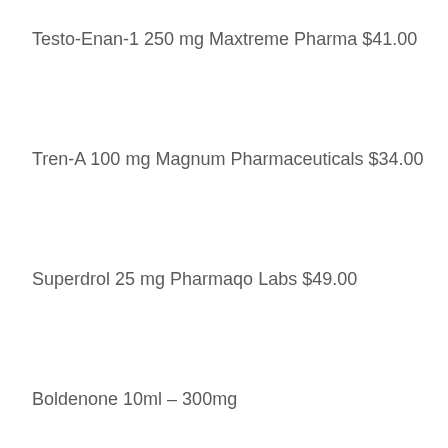Testo-Enan-1 250 mg Maxtreme Pharma $41.00
Tren-A 100 mg Magnum Pharmaceuticals $34.00
Superdrol 25 mg Pharmaqo Labs $49.00
Boldenone 10ml – 300mg